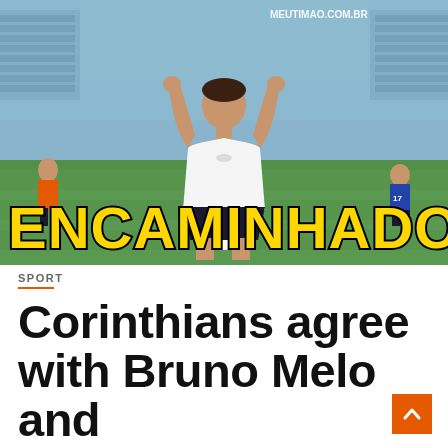[Figure (photo): A soccer player wearing a white jersey with arms raised in celebration, standing on a field inside a large stadium. Other players visible in the background. Text 'ENCAMINHADO' in large yellow bold letters with black outline overlaid at the bottom of the image. Watermark 'MEUTIMAO.COM.BR' in top right corner.]
SPORT
Corinthians agree with Bruno Melo and